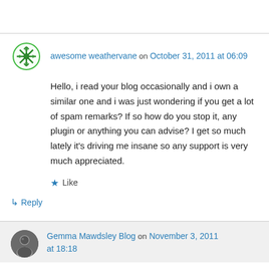awesome weathervane on October 31, 2011 at 06:09
Hello, i read your blog occasionally and i own a similar one and i was just wondering if you get a lot of spam remarks? If so how do you stop it, any plugin or anything you can advise? I get so much lately it's driving me insane so any support is very much appreciated.
★ Like
↳ Reply
Gemma Mawdsley Blog on November 3, 2011 at 18:18